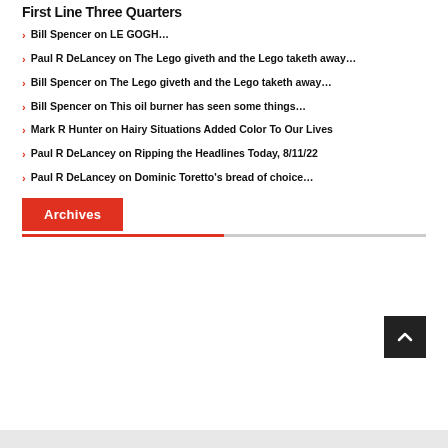First Line Three Quarters
Bill Spencer on LE GOGH…
Paul R DeLancey on The Lego giveth and the Lego taketh away…
Bill Spencer on The Lego giveth and the Lego taketh away…
Bill Spencer on This oil burner has seen some things…
Mark R Hunter on Hairy Situations Added Color To Our Lives
Paul R DeLancey on Ripping the Headlines Today, 8/11/22
Paul R DeLancey on Dominic Toretto's bread of choice…
Archives